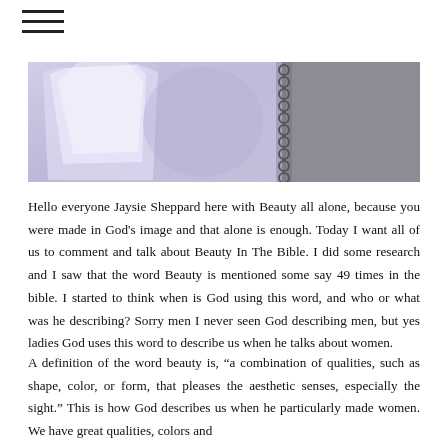≡
[Figure (photo): Cropped photo banner showing crystals or glass objects with lavender/blue tones on the left and a metal chain on the right against a muted background]
Hello everyone Jaysie Sheppard here with Beauty all alone, because you were made in God's image and that alone is enough. Today I want all of us to comment and talk about Beauty In The Bible. I did some research and I saw that the word Beauty is mentioned some say 49 times in the bible. I started to think when is God using this word, and who or what was he describing? Sorry men I never seen God describing men, but yes ladies God uses this word to describe us when he talks about women.
A definition of the word beauty is, “a combination of qualities, such as shape, color, or form, that pleases the aesthetic senses, especially the sight.” This is how God describes us when he particularly made women. We have great qualities, colors and